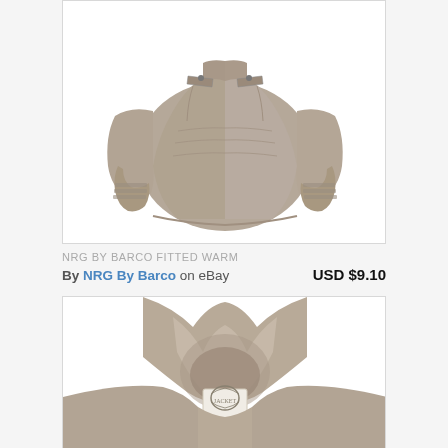[Figure (photo): Tan/khaki women's fitted biker jacket with zipper detail, shown on white background]
NRG BY BARCO FITTED WARM
By NRG By Barco on eBay
USD $9.10
[Figure (photo): Tan/khaki women's hooded jacket with hood visible at top, brand tag visible, shown on white background — partially cropped]